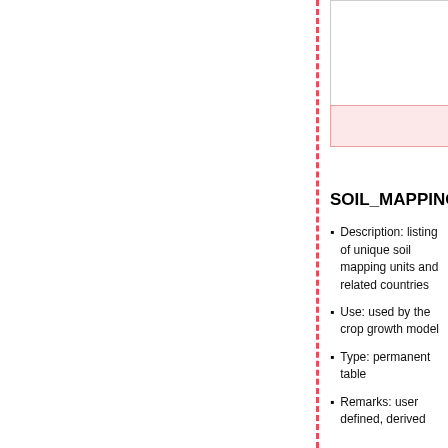[Figure (table-as-image): Partial table fragment visible at top right with pink/red highlighted row at bottom]
SOIL_MAPPING
Description: listing of unique soil mapping units and related countries
Use: used by the crop growth model
Type: permanent table
Remarks: user defined, derived